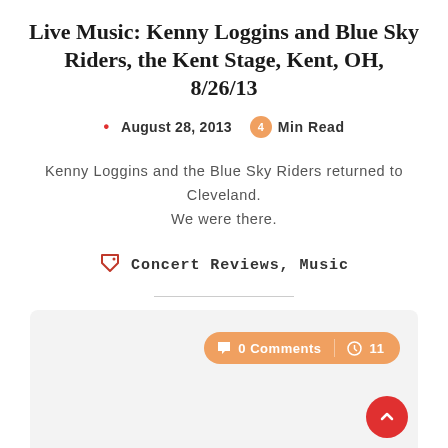Live Music: Kenny Loggins and Blue Sky Riders, the Kent Stage, Kent, OH, 8/26/13
August 28, 2013  4 Min Read
Kenny Loggins and the Blue Sky Riders returned to Cleveland. We were there.
Concert Reviews, Music
[Figure (screenshot): Light gray comment section panel with orange badge showing '0 Comments' and clock icon '11', and a red circular scroll-to-top button in the bottom right corner.]